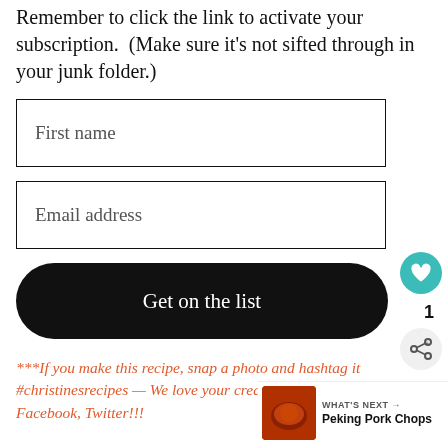Remember to click the link to activate your subscription. (Make sure it's not sifted through in your junk folder.)
First name
Email address
Get on the list
***If you make this recipe, snap a photo and hashtag it #christinesrecipes — We love your creations on Instagram, Facebook, Twitter!!!
[Figure (other): Heart/like button (teal circle with heart icon) and share button, with count '1']
WHAT'S NEXT → Peking Pork Chops